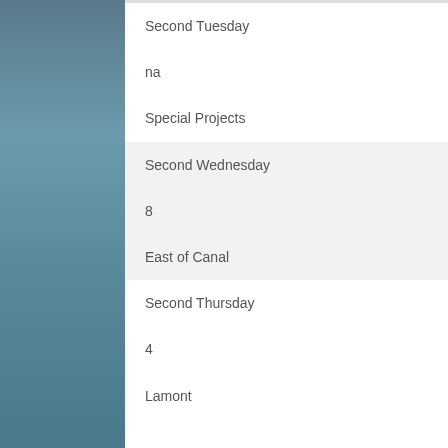Second Tuesday
na
Special Projects
Second Wednesday
8
East of Canal
Second Thursday
4
Lamont